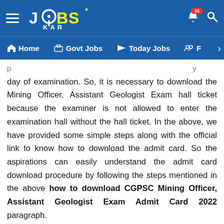[Figure (screenshot): JobsKar website header with logo, hamburger menu, bell notification (15), search icon, and navigation bar with Home, Govt Jobs, Today Jobs, and another item partially visible]
day of examination. So, it is necessary to download the Mining Officer, Assistant Geologist Exam hall ticket because the examiner is not allowed to enter the examination hall without the hall ticket. In the above, we have provided some simple steps along with the official link to know how to download the admit card. So the aspirations can easily understand the admit card download procedure by following the steps mentioned in the above how to download CGPSC Mining Officer, Assistant Geologist Exam Admit Card 2022 paragraph.
CGPSC Mining Officer, Assistant Geologist Exam Date 2022